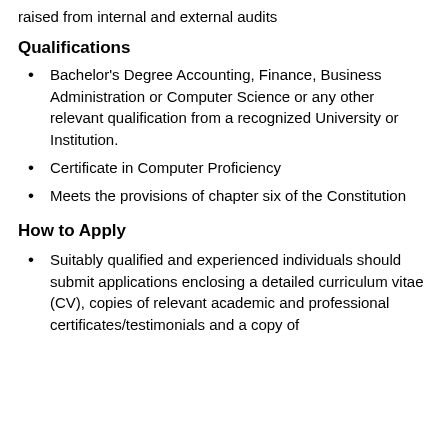raised from internal and external audits
Qualifications
Bachelor's Degree Accounting, Finance, Business Administration or Computer Science or any other relevant qualification from a recognized University or Institution.
Certificate in Computer Proficiency
Meets the provisions of chapter six of the Constitution
How to Apply
Suitably qualified and experienced individuals should submit applications enclosing a detailed curriculum vitae (CV), copies of relevant academic and professional certificates/testimonials and a copy of